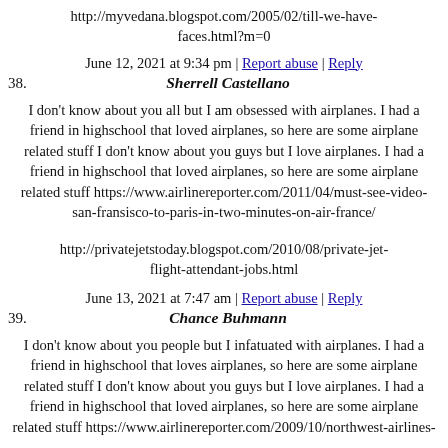http://myvedana.blogspot.com/2005/02/till-we-have-faces.html?m=0
June 12, 2021 at 9:34 pm | Report abuse | Reply
38. Sherrell Castellano
I don't know about you all but I am obsessed with airplanes. I had a friend in highschool that loved airplanes, so here are some airplane related stuff I don't know about you guys but I love airplanes. I had a friend in highschool that loved airplanes, so here are some airplane related stuff https://www.airlinereporter.com/2011/04/must-see-video-san-fransisco-to-paris-in-two-minutes-on-air-france/
http://privatejetstoday.blogspot.com/2010/08/private-jet-flight-attendant-jobs.html
June 13, 2021 at 7:47 am | Report abuse | Reply
39. Chance Buhmann
I don't know about you people but I infatuated with airplanes. I had a friend in highschool that loves airplanes, so here are some airplane related stuff I don't know about you guys but I love airplanes. I had a friend in highschool that loved airplanes, so here are some airplane related stuff https://www.airlinereporter.com/2009/10/northwest-airlines-